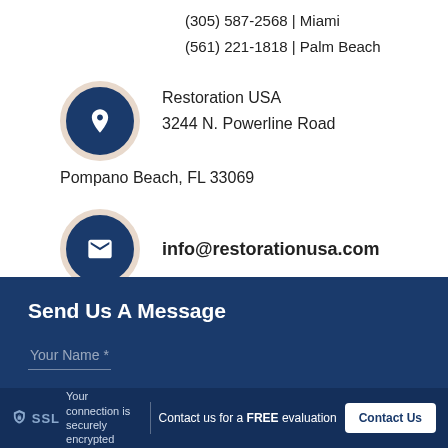(305) 587-2568 | Miami
(561) 221-1818 | Palm Beach
Restoration USA
3244 N. Powerline Road
Pompano Beach, FL 33069
info@restorationusa.com
Send Us A Message
Your Name *
SSL  Your connection is securely encrypted
Contact us for a FREE evaluation
Contact Us